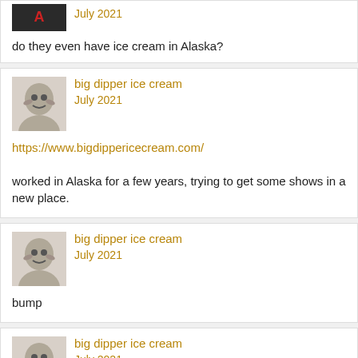July 2021
do they even have ice cream in Alaska?
big dipper ice cream
July 2021
https://www.bigdippericecream.com/
worked in Alaska for a few years, trying to get some shows in a new place.
big dipper ice cream
July 2021
bump
big dipper ice cream
July 2021